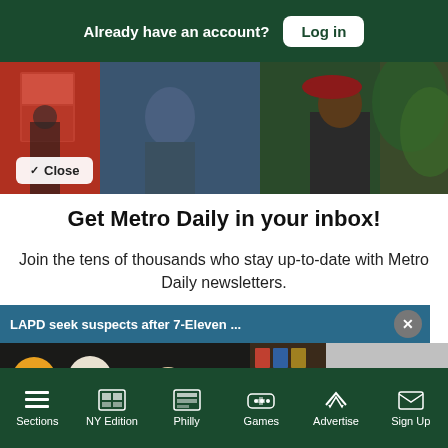Already have an account? Log in
[Figure (photo): Hero image showing a street scene with a soldier in a maroon beret and colorful posters in the background]
Close
Get Metro Daily in your inbox!
Join the tens of thousands who stay up-to-date with Metro Daily newsletters.
LAPD seek suspects after 7-Eleven ...
[Figure (screenshot): Security camera footage showing interior of a convenience store with hooded figures at the counter]
tter
Sections  NY Edition  Philly  Games  Advertise  Sign Up